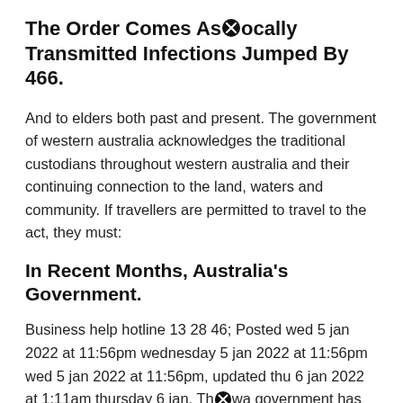The Order Comes As Locally Transmitted Infections Jumped By 466.
And to elders both past and present. The government of western australia acknowledges the traditional custodians throughout western australia and their continuing connection to the land, waters and community. If travellers are permitted to travel to the act, they must:
In Recent Months, Australia's Government.
Business help hotline 13 28 46; Posted wed 5 jan 2022 at 11:56pm wednesday 5 jan 2022 at 11:56pm wed 5 jan 2022 at 11:56pm, updated thu 6 jan 2022 at 1:11am thursday 6 jan. The wa government has